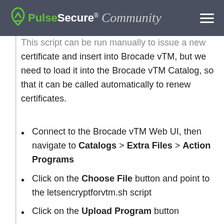Pulse Secure Community
This script can be run manually to issue a new certificate and insert into Brocade vTM, but we need to load it into the Brocade vTM Catalog, so that it can be called automatically to renew certificates.
Connect to the Brocade vTM Web UI, then navigate to Catalogs > Extra Files > Action Programs
Click on the Choose File button and point to the letsencryptforvtm.sh script
Click on the Upload Program button